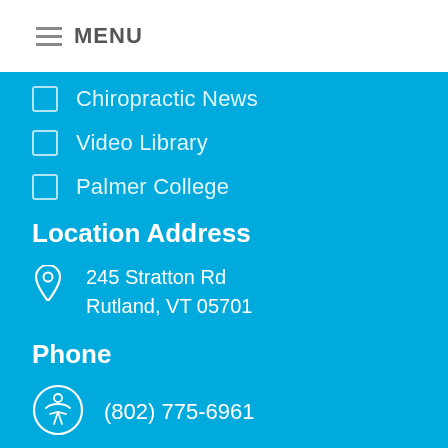MENU
Chiropractic News
Video Library
Palmer College
Location Address
245 Stratton Rd
Rutland, VT 05701
Phone
(802) 775-6961